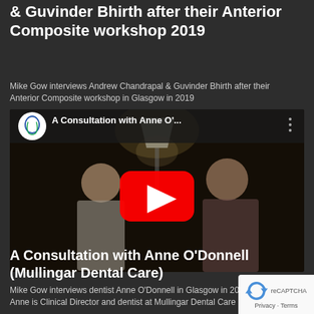& Guvinder Bhirth after their Anterior Composite workshop 2019
Mike Gow interviews Andrew Chandrapal & Guvinder Bhirth after their Anterior Composite workshop in Glasgow in 2019
[Figure (screenshot): YouTube video thumbnail showing two people sitting in chairs in a dimly lit room with a lamp in background. Video title shown: 'A Consultation with Anne O'...' with YouTube play button overlay and dental logo icon in top-left corner.]
A Consultation with Anne O'Donnell (Mullingar Dental Care)
Mike Gow interviews dentist Anne O'Donnell in Glasgow in 2019. Anne is Clinical Director and dentist at Mullingar Dental Care in Co.